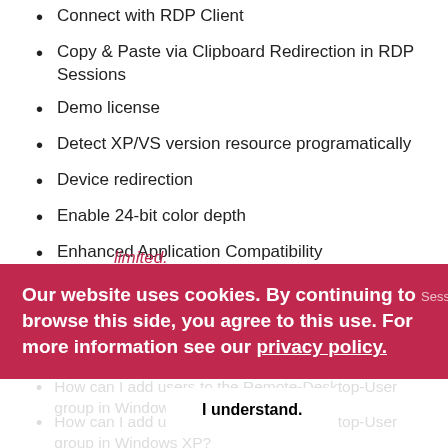Connect with RDP Client
Copy & Paste via Clipboard Redirection in RDP Sessions
Demo license
Detect XP/VS version resource programatically
Device redirection
Enable 24-bit color depth
Enhanced Application Compatibility
Error: Operating system update level is not compatible.
Error: The number of connections to this computer is limited.
Our website uses cookies. By continuing to browse this side, you agree to this use. For more information see our privacy policy.
How can I add users to the Remote-Desktop-User group in Windows Home?
How can I add users to the Remote-Desktop-User group in Windows XP?